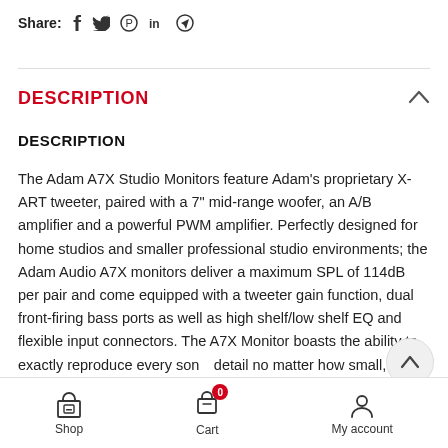Share:  f  🐦  ⊕  in  ✈
DESCRIPTION
DESCRIPTION
The Adam A7X Studio Monitors feature Adam's proprietary X-ART tweeter, paired with a 7" mid-range woofer, an A/B amplifier and a powerful PWM amplifier. Perfectly designed for home studios and smaller professional studio environments; the Adam Audio A7X monitors deliver a maximum SPL of 114dB per pair and come equipped with a tweeter gain function, dual front-firing bass ports as well as high shelf/low shelf EQ and flexible input connectors. The A7X Monitor boasts the ability to exactly reproduce every sonic detail no matter how small, with precise but powerful bass
Shop    Cart 0    My account